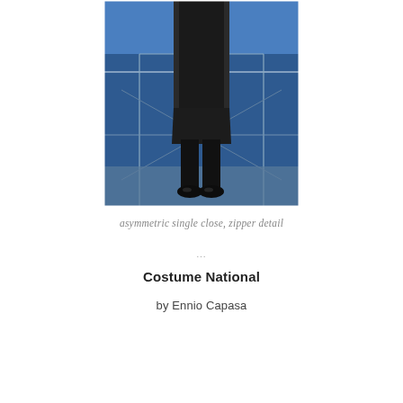[Figure (photo): Fashion photo of a person wearing a long black coat over black trousers and black shoes, standing in front of a blue industrial background with metal scaffolding structure.]
asymmetric single close, zipper detail
…
Costume National
by Ennio Capasa